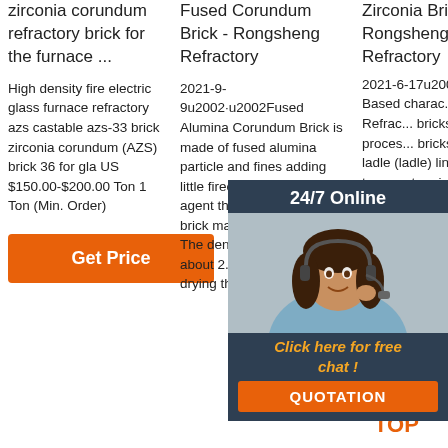zirconia corundum refractory brick for the furnace ...
High density fire electric glass furnace refractory azs castable azs-33 brick zirconia corundum (AZS) brick 36 for gla US $150.00-$200.00 Ton 1 Ton (Min. Order)
[Figure (other): Orange 'Get Price' button]
Fused Corundum Brick - Rongsheng Refractory
2021-9-9u2002·u2002Fused Alumina Corundum Brick is made of fused alumina particle and fines adding little fireclay and binding agent through molding by brick machine after mulling. The density of green brick is about 2.75~2.85g/cm3. After drying the
Zirconia Brick - Rongsheng Kiln Refractory
2021-6-17u200... of Zirc... Based charac... Rongs... Refrac... bricks prepar... proces... bricks used i... steel ladle (ladle) lining, high temperature induction furnac... lining, and aluminum
[Figure (screenshot): 24/7 Online chat widget with photo of woman with headset, 'Click here for free chat!' text and orange QUOTATION button]
[Figure (logo): Orange and red TOP icon with triangle/arrow shape in bottom right corner]